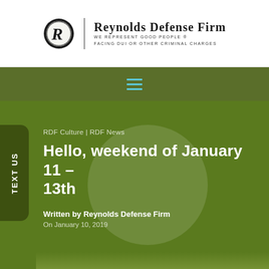[Figure (logo): Reynolds Defense Firm logo: oval emblem with stylized R, vertical divider, firm name and tagline]
[Figure (other): Navigation bar with hamburger menu icon (three teal horizontal lines) on olive green background]
RDF Culture | RDF News
Hello, weekend of January 11 – 13th
Written by Reynolds Defense Firm
On January 10, 2019